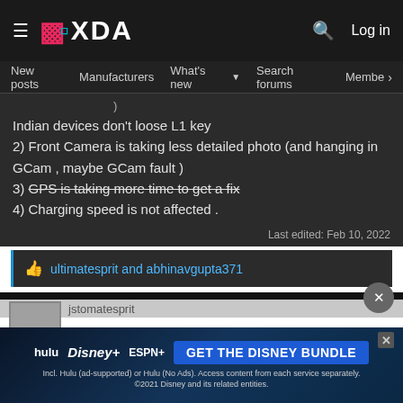XDA — Log in
New posts  Manufacturers  What's new  Search forums  Members  >
Indian devices don't loose L1 key
2) Front Camera is taking less detailed photo (and hanging in GCam , maybe GCam fault )
3) GPS is taking more time to get a fix
4) Charging speed is not affected .
Last edited: Feb 10, 2022
ultimatesprit and abhinavgupta371
[Figure (screenshot): Advertisement banner for Disney Bundle featuring Hulu, Disney+, and ESPN+. Blue CTA button: GET THE DISNEY BUNDLE]
jstomatesprit